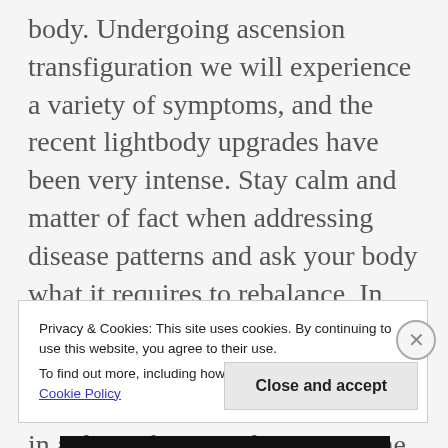body. Undergoing ascension transfiguration we will experience a variety of symptoms, and the recent lightbody upgrades have been very intense. Stay calm and matter of fact when addressing disease patterns and ask your body what it requires to rebalance. In this rapid plasma acceleration, be proactive in treating your body with the care it requires as if one is in a detoxification cleanse regime.
Common Energetic Blocks...
Privacy & Cookies: This site uses cookies. By continuing to use this website, you agree to their use.
To find out more, including how to control cookies, see here: Cookie Policy
Close and accept